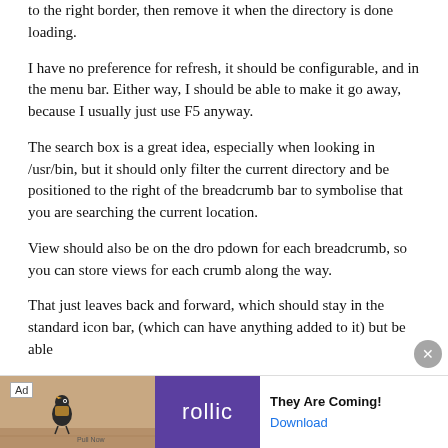to the right border, then remove it when the directory is done loading.
I have no preference for refresh, it should be configurable, and in the menu bar. Either way, I should be able to make it go away, because I usually just use F5 anyway.
The search box is a great idea, especially when looking in /usr/bin, but it should only filter the current directory and be positioned to the right of the breadcrumb bar to symbolise that you are searching the current location.
View should also be on the dro pdown for each breadcrumb, so you can store views for each crumb along the way.
That just leaves back and forward, which should stay in the standard icon bar, (which can have anything added to it) but be able
[Figure (other): Advertisement banner: Rollic game ad with 'They Are Coming!' headline and Download link]